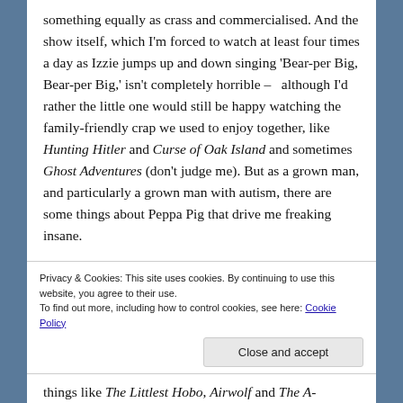something equally as crass and commercialised. And the show itself, which I'm forced to watch at least four times a day as Izzie jumps up and down singing 'Bear-per Big, Bear-per Big,' isn't completely horrible – although I'd rather the little one would still be happy watching the family-friendly crap we used to enjoy together, like Hunting Hitler and Curse of Oak Island and sometimes Ghost Adventures (don't judge me). But as a grown man, and particularly a grown man with autism, there are some things about Peppa Pig that drive me freaking insane.
Privacy & Cookies: This site uses cookies. By continuing to use this website, you agree to their use.
To find out more, including how to control cookies, see here: Cookie Policy
things like The Littlest Hobo, Airwolf and The A-